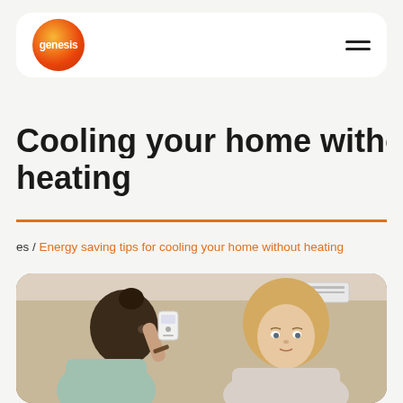genesis (logo) — navigation bar with hamburger menu
Cooling your home without heating
es / Energy saving tips for cooling your home without heating
[Figure (photo): Two women in a room, one holding a white remote control device up near an air conditioning unit on the wall]